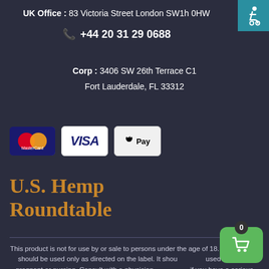UK Office : 83 Victoria Street London SW1h 0HW
+44 20 31 29 0688
Corp : 3406 SW 26th Terrace C1
Fort Lauderdale, FL 33312
[Figure (logo): Payment method logos: MasterCard, VISA, Apple Pay]
U.S. Hemp Roundtable
This product is not for use by or sale to persons under the age of 18. This product should be used only as directed on the label. It should not be used if you are pregnant or nursing. Consult with a physician before use if you have a serious medical condition or use prescription medication. A Doctor's advice should be sought before using this and any other